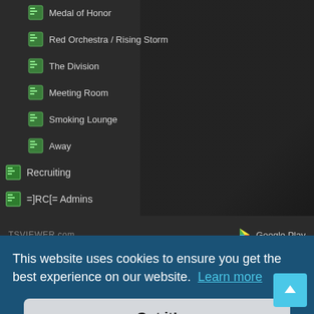Medal of Honor
Red Orchestra / Rising Storm
The Division
Meeting Room
Smoking Lounge
Away
Recruiting
=]RC[= Admins
TSVIEWER.com
Google Play
Home · Board index
This website uses cookies to ensure you get the best experience on our website. Learn more
Got it!